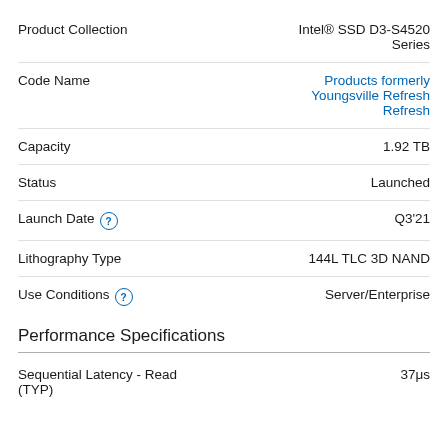| Attribute | Value |
| --- | --- |
| Product Collection | Intel® SSD D3-S4520 Series |
| Code Name | Products formerly Youngsville Refresh Refresh |
| Capacity | 1.92 TB |
| Status | Launched |
| Launch Date | Q3'21 |
| Lithography Type | 144L TLC 3D NAND |
| Use Conditions | Server/Enterprise |
Performance Specifications
| Attribute | Value |
| --- | --- |
| Sequential Latency - Read (TYP) | 37μs |